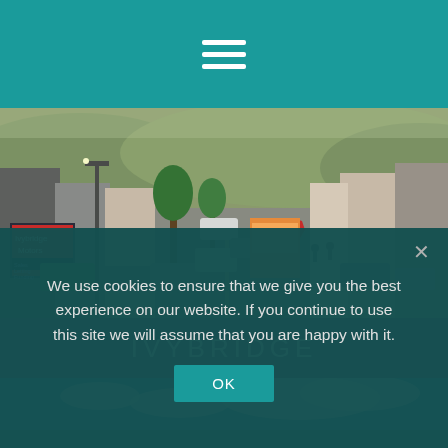Navigation menu (hamburger icon)
[Figure (photo): Street scene of Ivybridge town centre showing shops, parked cars, trees and hills in background]
IVYBRIDGE
[Figure (photo): Blue sky with clouds, partial view of second location card]
We use cookies to ensure that we give you the best experience on our website. If you continue to use this site we will assume that you are happy with it.